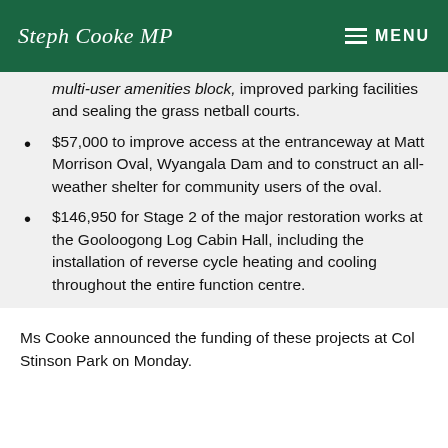Steph Cooke MP — MENU
multi-user amenities block, improved parking facilities and sealing the grass netball courts.
$57,000 to improve access at the entranceway at Matt Morrison Oval, Wyangala Dam and to construct an all-weather shelter for community users of the oval.
$146,950 for Stage 2 of the major restoration works at the Gooloogong Log Cabin Hall, including the installation of reverse cycle heating and cooling throughout the entire function centre.
Ms Cooke announced the funding of these projects at Col Stinson Park on Monday.